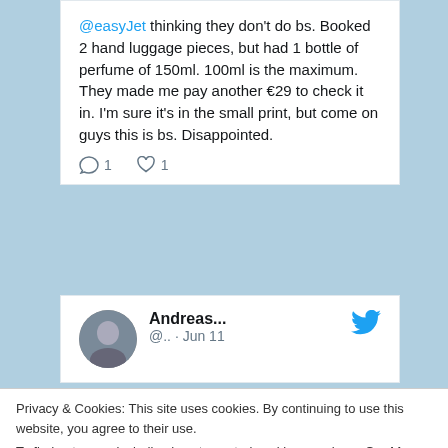@easyJet thinking they don't do bs. Booked 2 hand luggage pieces, but had 1 bottle of perfume of 150ml. 100ml is the maximum. They made me pay another €29 to check it in. I'm sure it's in the small print, but come on guys this is bs. Disappointed.
1 comment, 1 like
Andreas... @.. · Jun 11
Privacy & Cookies: This site uses cookies. By continuing to use this website, you agree to their use. To find out more, including how to control cookies, see here: Cookie Policy
Close and accept